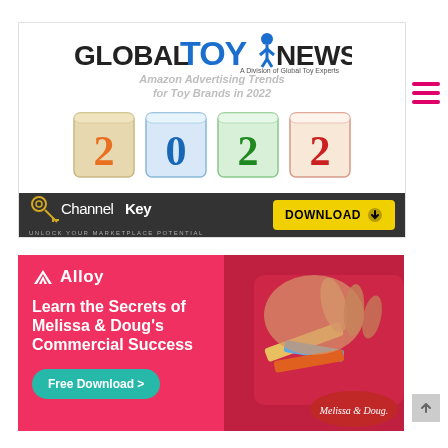[Figure (illustration): Channel Key advertisement for Global Toy News - Amazon advertising trends for toy brands in 2022. Features colorful wooden number blocks spelling 2022, Channel Key logo, and yellow download button.]
[Figure (illustration): Alloy advertisement featuring Learn the Secrets of Melissa & Doug's Commercial Success with a Free Download button. Shows child playing with wooden toys on red background with Melissa & Doug logo.]